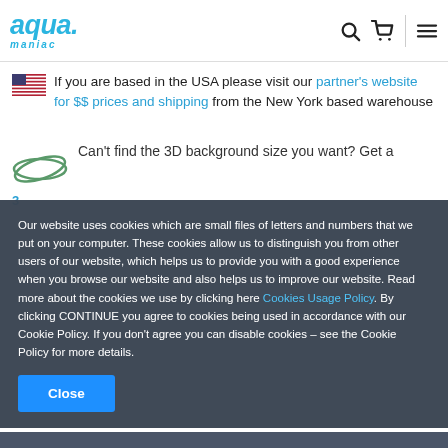aqua maniac - header with search, cart, and menu icons
If you are based in the USA please visit our partner's website for $$ prices and shipping from the New York based warehouse
Can't find the 3D background size you want? Get a
Our website uses cookies which are small files of letters and numbers that we put on your computer. These cookies allow us to distinguish you from other users of our website, which helps us to provide you with a good experience when you browse our website and also helps us to improve our website. Read more about the cookies we use by clicking here Cookies Usage Policy. By clicking CONTINUE you agree to cookies being used in accordance with our Cookie Policy. If you don't agree you can disable cookies – see the Cookie Policy for more details.
Close